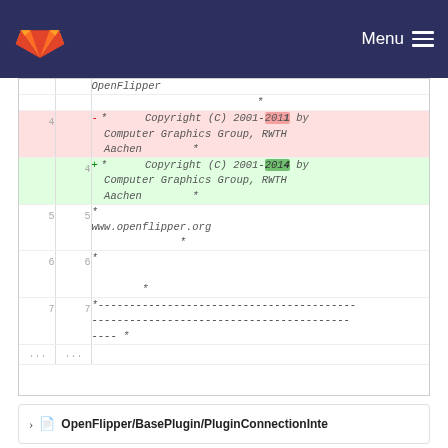Menu
| old | new | code |
| --- | --- | --- |
|  |  | OpenFlipper |
|  |  | * |
| 4 |  | - *      Copyright (C) 2001-2011 by Computer Graphics Group, RWTH Aachen      * |
|  | 4 | + *      Copyright (C) 2001-2014 by Computer Graphics Group, RWTH Aachen      * |
| 5 | 5 | * www.openflipper.org * |
| 6 | 6 | * * |
| 7 | 7 | *---------------------------------------------------------------------------* |
| ... | ... |  |
OpenFlipper/BasePlugin/PluginConnectionInte